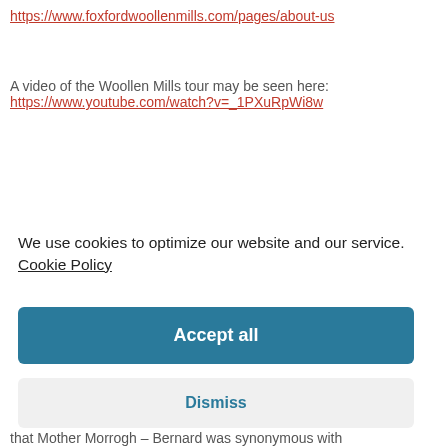https://www.foxfordwoollenmills.com/pages/about-us
A video of the Woollen Mills tour may be seen here:
https://www.youtube.com/watch?v=_1PXuRpWi8w
We use cookies to optimize our website and our service.  Cookie Policy
Accept all
Dismiss
Preferences
that Mother Morrogh – Bernard was synonymous with